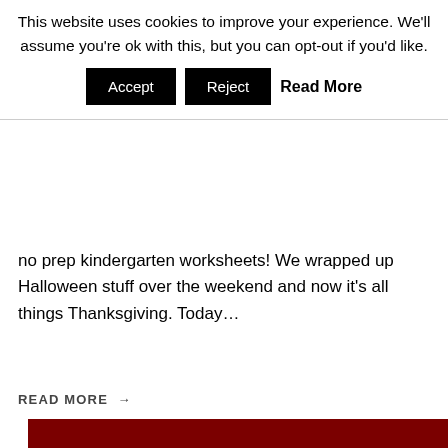This website uses cookies to improve your experience. We'll assume you're ok with this, but you can opt-out if you'd like.
Accept  Reject  Read More
no prep kindergarten worksheets! We wrapped up Halloween stuff over the weekend and now it's all things Thanksgiving. Today…
READ MORE →
[Figure (illustration): Dark red/maroon rectangular banner with white text reading 'preschool fall' in large bold rounded font, below which is bold black text 'FREE PRINTABLE', and below that pink cursive text 'Apple Worksheets']